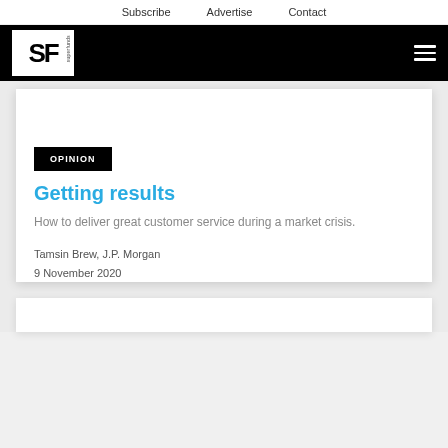Subscribe   Advertise   Contact
[Figure (logo): SF Superfunds logo on black navigation bar with hamburger menu icon]
OPINION
Getting results
How to deliver great customer service during a market crisis.
Tamsin Brew, J.P. Morgan
9 November 2020